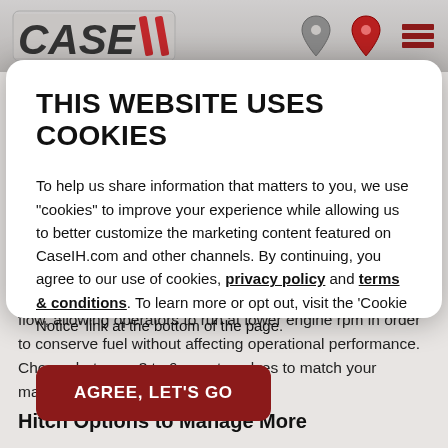CASE IH — website header with logo and navigation icons
THIS WEBSITE USES COOKIES
To help us share information that matters to you, we use "cookies" to improve your experience while allowing us to better customize the marketing content featured on CaseIH.com and other channels. By continuing, you agree to our use of cookies, privacy policy and terms & conditions. To learn more or opt out, visit the 'Cookie Notice' link at the bottom of the page.
AGREE, LET'S GO
flow, allowing operators to run at lower engine rpm in order to conserve fuel without affecting operational performance. Choose between 3 to 6 remote valves to match your machines needs.
Hitch Options to Manage More